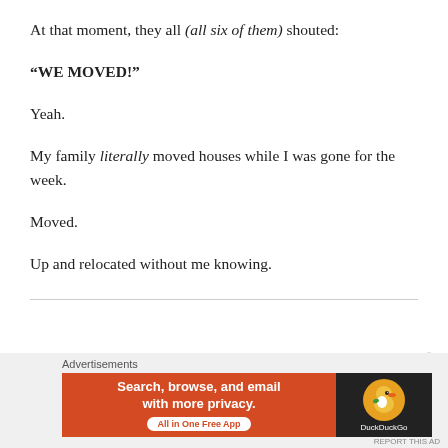At that moment, they all (all six of them) shouted:
“WE MOVED!”
Yeah.
My family literally moved houses while I was gone for the week.
Moved.
Up and relocated without me knowing.
[Figure (other): DuckDuckGo advertisement banner: orange left panel with text 'Search, browse, and email with more privacy. All in One Free App' and dark right panel with DuckDuckGo duck logo.]